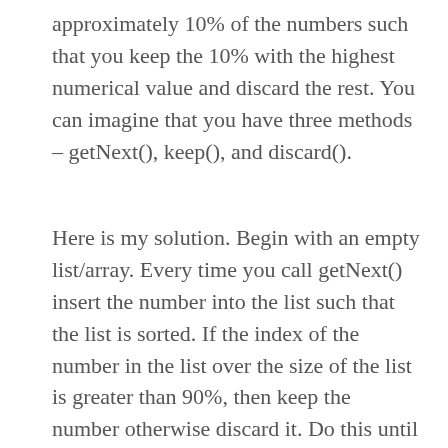approximately 10% of the numbers such that you keep the 10% with the highest numerical value and discard the rest. You can imagine that you have three methods – getNext(), keep(), and discard().
Here is my solution. Begin with an empty list/array. Every time you call getNext() insert the number into the list such that the list is sorted. If the index of the number in the list over the size of the list is greater than 90%, then keep the number otherwise discard it. Do this until the size of list reaches some threshold (say, 1 million) at which point you can feel confident that whatever